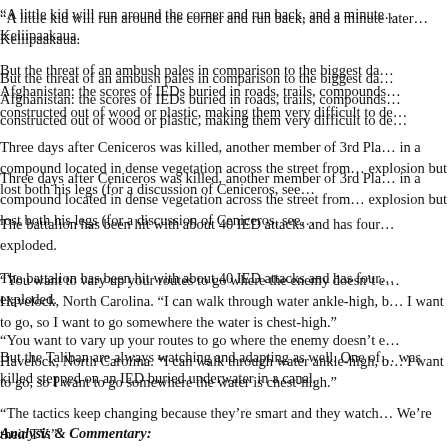“A little kid will run around the corner and run back, and a minute later… Keliipaakaua.
But the threat of an ambush pales in comparison to the biggest da… Afghanistan: the scores of IEDs buried in roads, trails, compounds… constructed out of wood or plastic, making them very difficult to de…
Three days after Ceniceros was killed, another member of 3rd Pla… in a compound located in dense vegetation across the street from… explosion but lost both his legs (for a discussion of Ceniceros, see…
The battalion has been hit with about 40 IED attacks and has four… exploded.
“You want to vary up your routes to go where the enemy doesn’t e… Havelock, North Carolina. “I can walk through water ankle-high, b… I want to go, so I want to go somewhere the water is chest-high.”
But the Taliban are always watching and adapting as well. One of… was killed stepped on an IED buried underwater in a canal.
“The tactics keep changing because they’re smart and they watch… We’re their TV.”
Analysis & Commentary: